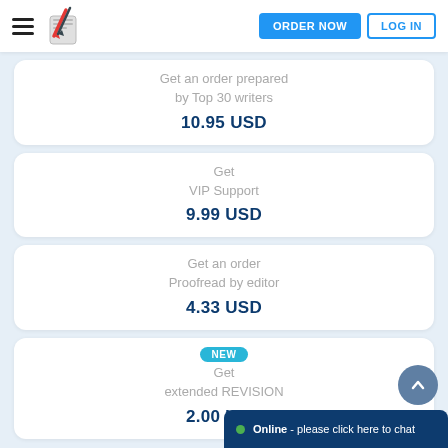ORDER NOW  LOG IN
Get an order prepared by Top 30 writers
10.95 USD
Get
VIP Support
9.99 USD
Get an order
Proofread by editor
4.33 USD
NEW
Get
extended REVISION
2.00 USD
Online - please click here to chat